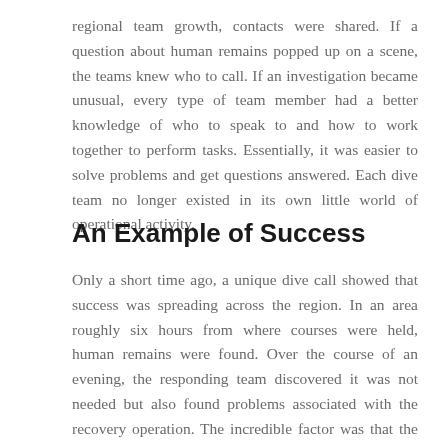regional team growth, contacts were shared. If a question about human remains popped up on a scene, the teams knew who to call. If an investigation became unusual, every type of team member had a better knowledge of who to speak to and how to work together to perform tasks. Essentially, it was easier to solve problems and get questions answered. Each dive team no longer existed in its own little world of operational activity.
An Example of Success
Only a short time ago, a unique dive call showed that success was spreading across the region. In an area roughly six hours from where courses were held, human remains were found. Over the course of an evening, the responding team discovered it was not needed but also found problems associated with the recovery operation. The incredible factor was that the dive team was part of an area rescue squad